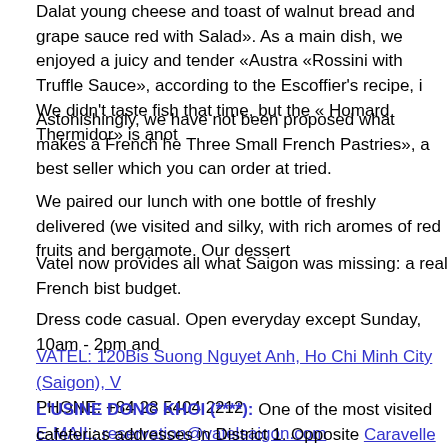Dalat young cheese and toast of walnut bread and grape sauce red with Salad». As a main dish, we enjoyed a juicy and tender «Austra «Rossini with Truffle Sauce», according to the Escoffier's recipe, i We didn't taste fish that time, but the « Homard Thermidor» is anot
Astonishingly, we have not been proposed what makes a French he Three Small French Pastries», a best seller which you can order at tried.
We paired our lunch with one bottle of freshly delivered (we visited and silky, with rich aromes of red fruits and bergamote. Our dessert
Vatel now provides all what Saigon was missing: a real French bist budget.
Dress code casual. Open everyday except Sunday, 10am - 2pm and
VATEL: 120Bis Suong Nguyet Anh, Ho Chi Minh City (Saigon), V PHONE: +84 28 5404 2212 E-MAIL: reservation@vatelsaigon.com
L'USINE DONG KHOI (****): One of the most visited cafeterias addresses in District 1. Opposite Caravelle Hotel, a stone's throw f